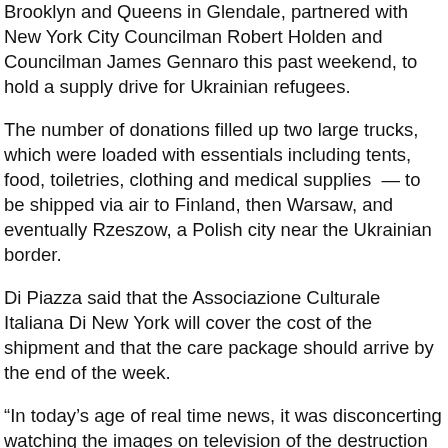Brooklyn and Queens in Glendale, partnered with New York City Councilman Robert Holden and Councilman James Gennaro this past weekend, to hold a supply drive for Ukrainian refugees.
The number of donations filled up two large trucks, which were loaded with essentials including tents, food, toiletries, clothing and medical supplies — to be shipped via air to Finland, then Warsaw, and eventually Rzeszow, a Polish city near the Ukrainian border.
Di Piazza said that the Associazione Culturale Italiana Di New York will cover the cost of the shipment and that the care package should arrive by the end of the week.
“In today’s age of real time news, it was disconcerting watching the images on television of the destruction of a beautiful country and the children. We could not stand idly by and do nothing,” Di Piazza said.
“We’re happy that we could, in a very small way, be helpful to the people of Ukraine,” he continued. “The fight goes on. We stand